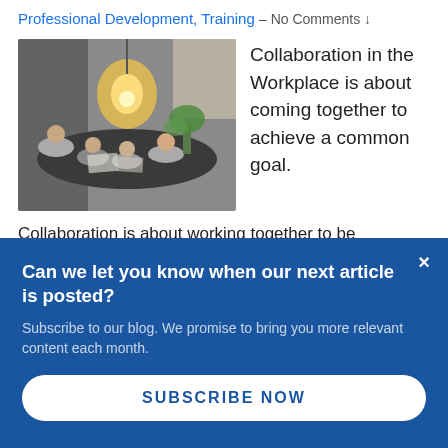Professional Development, Training – No Comments ↓
[Figure (photo): Group of people sitting around a table collaborating in a modern workspace with a hanging Edison bulb light fixture and plants in the background.]
Collaboration in the Workplace is about coming together to achieve a common goal.
Collaboration is about working together to be
Can we let you know when our next article is posted?
Subscribe to our blog. We promise to bring you more relevant content each month.
SUBSCRIBE NOW